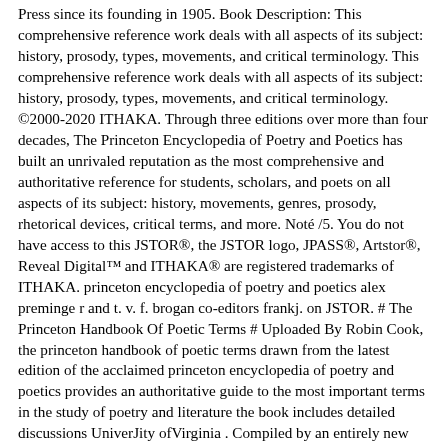Press since its founding in 1905. Book Description: This comprehensive reference work deals with all aspects of its subject: history, prosody, types, movements, and critical terminology. This comprehensive reference work deals with all aspects of its subject: history, prosody, types, movements, and critical terminology. ©2000-2020 ITHAKA. Through three editions over more than four decades, The Princeton Encyclopedia of Poetry and Poetics has built an unrivaled reputation as the most comprehensive and authoritative reference for students, scholars, and poets on all aspects of its subject: history, movements, genres, prosody, rhetorical devices, critical terms, and more. Noté /5. You do not have access to this JSTOR®, the JSTOR logo, JPASS®, Artstor®, Reveal Digital™ and ITHAKA® are registered trademarks of ITHAKA. princeton encyclopedia of poetry and poetics alex preminge r and t. v. f. brogan co-editors frankj. on JSTOR. # The Princeton Handbook Of Poetic Terms # Uploaded By Robin Cook, the princeton handbook of poetic terms drawn from the latest edition of the acclaimed princeton encyclopedia of poetry and poetics provides an authoritative guide to the most important terms in the study of poetry and literature the book includes detailed discussions UniverJity ofVirginia . Compiled by an entirely new team of editors, the fourth edition--the first new edition in almost twenty years--reflects recent changes in literary and cultural studies, providing up-to-date coverage and giving greater attention to the international aspects of poetry, all while preserving the best